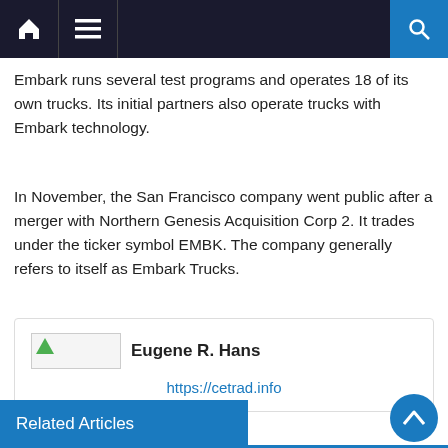Navigation bar with home, menu, and search icons
Embark runs several test programs and operates 18 of its own trucks. Its initial partners also operate trucks with Embark technology.
In November, the San Francisco company went public after a merger with Northern Genesis Acquisition Corp 2. It trades under the ticker symbol EMBK. The company generally refers to itself as Embark Trucks.
Eugene R. Hans
https://cetrad.info
Related Articles